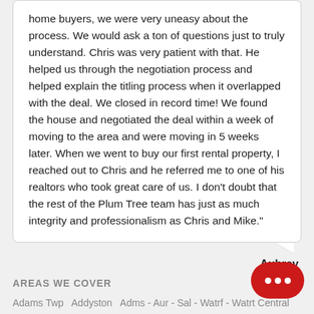home buyers, we were very uneasy about the process. We would ask a ton of questions just to truly understand. Chris was very patient with that. He helped us through the negotiation process and helped explain the titling process when it overlapped with the deal. We closed in record time! We found the house and negotiated the deal within a week of moving to the area and were moving in 5 weeks later. When we went to buy our first rental property, I reached out to Chris and he referred me to one of his realtors who took great care of us. I don't doubt that the rest of the Plum Tree team has just as much integrity and professionalism as Chris and Mike."
Aubrey
AREAS WE COVER
Adams Twp  Addyston  Adms - Aur - Sal - Watrf - Watrt Central  Alex-GrntLk-S Cmpbl  Allen  Alliance  Amanda  Amberley  Amelia  Amherst Area  Anderson Twp.  Andover  Andover Township  Applecreek Village  Arlington Hts.  Ashtabula  Ashtabula Township  Atwater  Auburn  Aurora